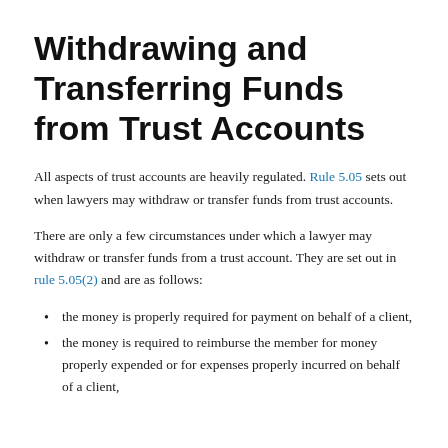Withdrawing and Transferring Funds from Trust Accounts
All aspects of trust accounts are heavily regulated. Rule 5.05 sets out when lawyers may withdraw or transfer funds from trust accounts.
There are only a few circumstances under which a lawyer may withdraw or transfer funds from a trust account. They are set out in rule 5.05(2) and are as follows:
the money is properly required for payment on behalf of a client,
the money is required to reimburse the member for money properly expended or for expenses properly incurred on behalf of a client,